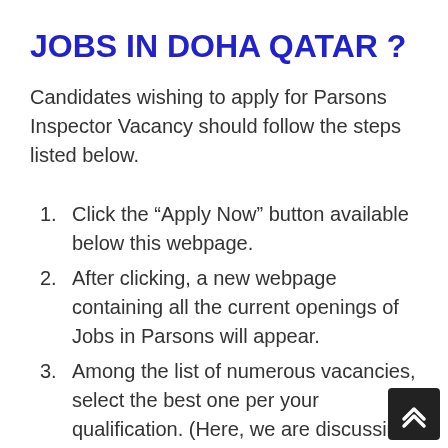JOBS IN DOHA QATAR ?
Candidates wishing to apply for Parsons Inspector Vacancy should follow the steps listed below.
Click the “Apply Now” button available below this webpage.
After clicking, a new webpage containing all the current openings of Jobs in Parsons will appear.
Among the list of numerous vacancies, select the best one per your qualification. (Here, we are discussing Parsons Inspector Jobs in Doha).
Cross-check the qualifications and download the online job application form